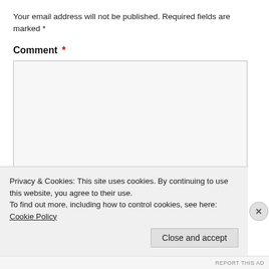Your email address will not be published. Required fields are marked *
Comment *
[comment text area - empty]
Name *
Privacy & Cookies: This site uses cookies. By continuing to use this website, you agree to their use.
To find out more, including how to control cookies, see here: Cookie Policy
Close and accept